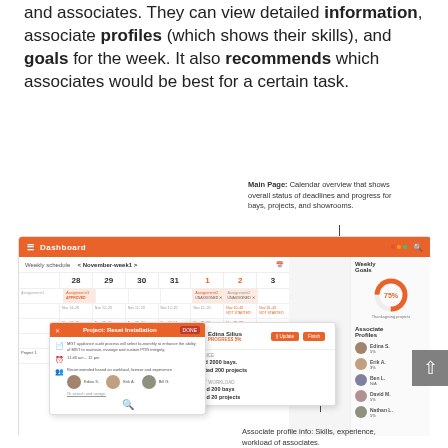and associates. They can view detailed information, associate profiles (which shows their skills), and goals for the week. It also recommends which associates would be best for a certain task.
Main Page: Calendar overview that shows overall status of deadlines and progress for bays, projects, and showrooms.
[Figure (screenshot): Dashboard UI mockup showing a weekly schedule calendar for November week 1 with dates 28, 29, 30, 31, 1, 2, 3. Includes a project popup 'Project: Reset Installation', an associate profile popup for 'Edina Silius', and a right panel showing Weekly Goals (75% donut chart) and Associate Profiles. An orange top navigation bar shows 'Dashboard'.]
Associate profile info: Skills, experience, workload of associates.